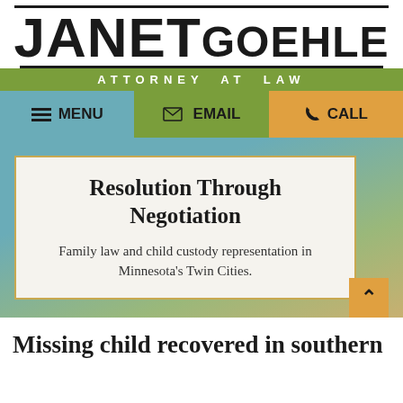JANET GOEHLE
ATTORNEY AT LAW
[Figure (screenshot): Navigation bar with three buttons: MENU (teal), EMAIL (green), CALL (orange)]
Resolution Through Negotiation
Family law and child custody representation in Minnesota's Twin Cities.
Missing child recovered in southern